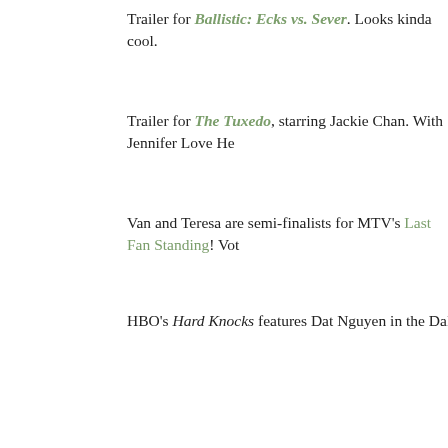Trailer for Ballistic: Ecks vs. Sever. Looks kinda cool.
Trailer for The Tuxedo, starring Jackie Chan. With Jennifer Love He…
Van and Teresa are semi-finalists for MTV's Last Fan Standing! Vot…
HBO's Hard Knocks features Dat Nguyen in the Dallas Cowboys Tra…
The New York Korean Film Festival begins today. Check it out.
08.12.02
David points me to a Chicago Sun Times article by Mike Houlihan, b… Chicago: A community celebrates diversity
08.09.02
Check out up-and-coming R & B singer Amerie. She is half black, h…